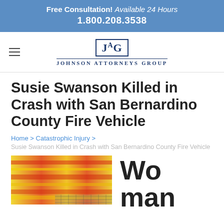Free Consultation! Available 24 Hours
1.800.208.3538
[Figure (logo): Johnson Attorneys Group logo with JAG initials in a bordered box and firm name below]
Susie Swanson Killed in Crash with San Bernardino County Fire Vehicle
Home > Catastrophic Injury >
Susie Swanson Killed in Crash with San Bernardino County Fire Vehicle
[Figure (photo): Blurred motion photo of a fire truck with red and yellow colors]
Wo man